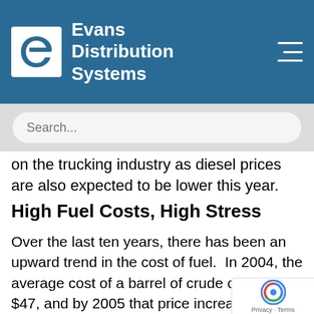Evans Distribution Systems
on the trucking industry as diesel prices are also expected to be lower this year.
High Fuel Costs, High Stress
Over the last ten years, there has been an upward trend in the cost of fuel.  In 2004, the average cost of a barrel of crude oil was $47, and by 2005 that price increased to about $60 a barrel. When the recession was beginning to take shape in 2008, the (inflation adjusted) cost of a barrel of crude